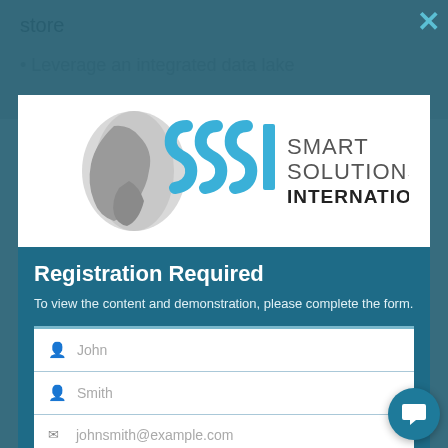[Figure (screenshot): Background page content showing partial bullet point text 'store' and 'Leverage an integrated data lake']
[Figure (logo): Smart Solutions International logo with blue SSS I lettering and globe graphic on white background]
Registration Required
To view the content and demonstration, please complete the form.
John (first name input field placeholder)
Smith (last name input field placeholder)
johnsmith@example.com (email input field placeholder)
English (language dropdown)